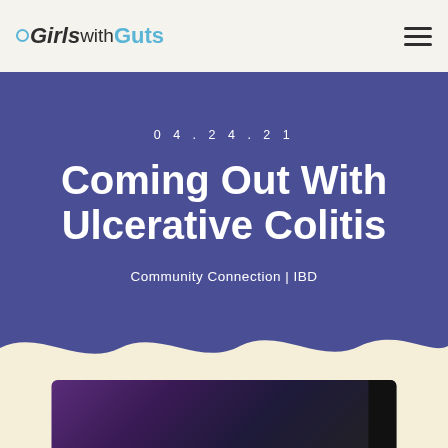Girls with Guts
04.24.21
Coming Out With Ulcerative Colitis
Community Connection | IBD
[Figure (photo): Bottom portion showing a cream/beige wavy background with a dark photo image partially visible at the bottom of the page]